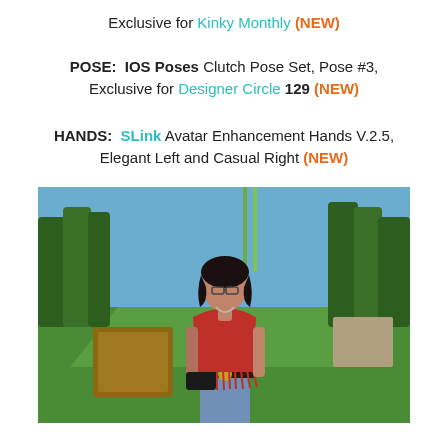Exclusive for Kinky Monthly (NEW)
POSE:  IOS Poses Clutch Pose Set, Pose #3, Exclusive for Designer Circle 129 (NEW)
HANDS:  SLink Avatar Enhancement Hands V.2.5, Elegant Left and Casual Right (NEW)
[Figure (photo): A 3D avatar/virtual world character: a woman with black hair, red halter top with fringe, tattoos, jeans and belt with peace sign buckle, holding a black clutch, standing outdoors in a virtual garden with green grass, trees and bamboo in the background.]